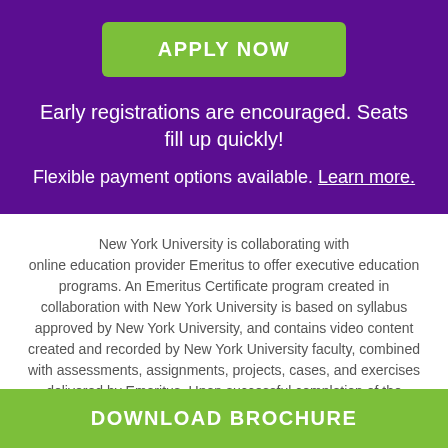APPLY NOW
Early registrations are encouraged. Seats fill up quickly!
Flexible payment options available. Learn more.
New York University is collaborating with online education provider Emeritus to offer executive education programs. An Emeritus Certificate program created in collaboration with New York University is based on syllabus approved by New York University, and contains video content created and recorded by New York University faculty, combined with assessments, assignments, projects, cases, and exercises delivered by Emeritus. Upon successful completion of the program
DOWNLOAD BROCHURE